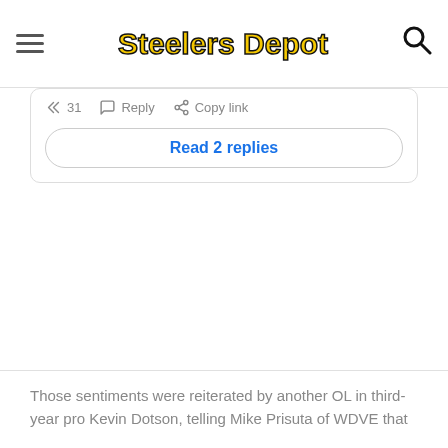Steelers Depot
31  Reply  Copy link
Read 2 replies
Those sentiments were reiterated by another OL in third-year pro Kevin Dotson, telling Mike Prisuta of WDVE that